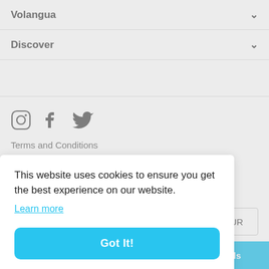Volangua
Discover
[Figure (illustration): Social media icons: Instagram, Facebook, Twitter]
Terms and Conditions
Privacy Policy
Sitemap
This website uses cookies to ensure you get the best experience on our website.
Learn more
Got It!
€222.50